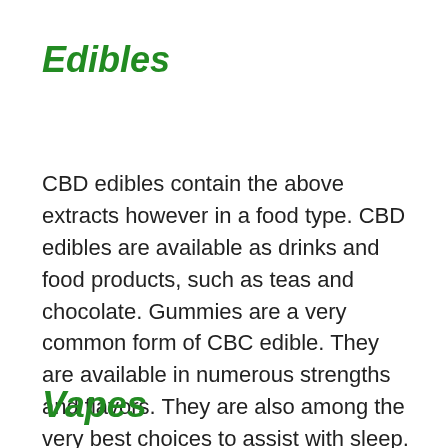Edibles
CBD edibles contain the above extracts however in a food type. CBD edibles are available as drinks and food products, such as teas and chocolate. Gummies are a very common form of CBC edible. They are available in numerous strengths and flavors. They are also among the very best choices to assist with sleep.
Vapes